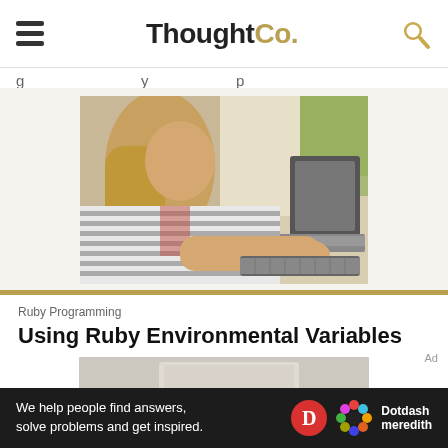ThoughtCo. (hamburger menu + search icon)
g ... y ... p (partially visible navigation text)
[Figure (photo): Young girl in striped shirt typing on a laptop computer, side profile view]
Ruby Programming
Using Ruby Environmental Variables
[Figure (photo): Partial view of another article image, cropped at bottom]
We help people find answers, solve problems and get inspired. Dotdash meredith